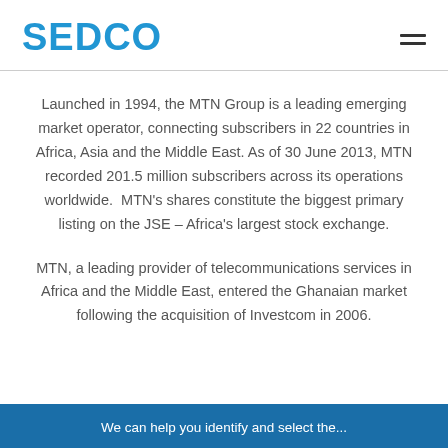SEDCO
Launched in 1994, the MTN Group is a leading emerging market operator, connecting subscribers in 22 countries in Africa, Asia and the Middle East. As of 30 June 2013, MTN recorded 201.5 million subscribers across its operations worldwide. MTN’s shares constitute the biggest primary listing on the JSE – Africa’s largest stock exchange.
MTN, a leading provider of telecommunications services in Africa and the Middle East, entered the Ghanaian market following the acquisition of Investcom in 2006.
We can help you identify and select the...